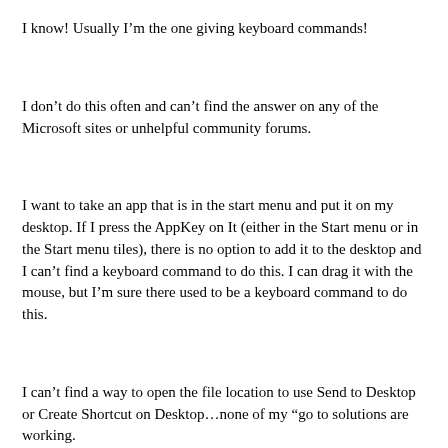I know! Usually I’m the one giving keyboard commands!
I don’t do this often and can’t find the answer on any of the Microsoft sites or unhelpful community forums.
I want to take an app that is in the start menu and put it on my desktop. If I press the AppKey on It (either in the Start menu or in the Start menu tiles), there is no option to add it to the desktop and I can’t find a keyboard command to do this. I can drag it with the mouse, but I’m sure there used to be a keyboard command to do this.
I can’t find a way to open the file location to use Send to Desktop or Create Shortcut on Desktop…none of my “go to solutions are working.